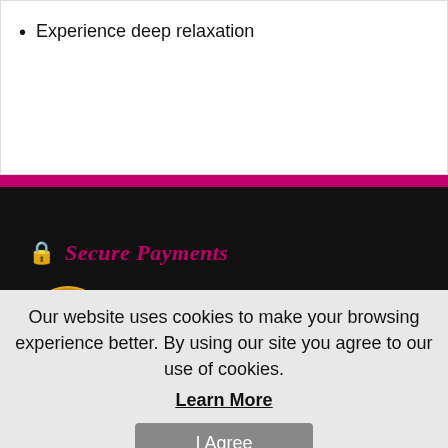Experience deep relaxation
Secure Payments
[Figure (infographic): Payment trust badges: 100% satisfaction guarantee seal, VISA, American Express, MasterCard, Maestro, Discover card logos]
[Figure (logo): BBB (Better Business Bureau) accredited business logo on white background]
Our website uses cookies to make your browsing experience better. By using our site you agree to our use of cookies.
Learn More
I Agree